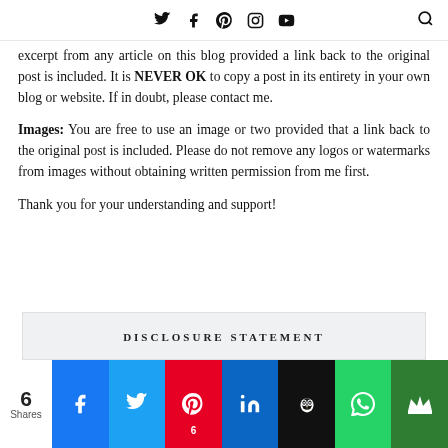Twitter Facebook Pinterest Instagram YouTube Search
excerpt from any article on this blog provided a link back to the original post is included. It is NEVER OK to copy a post in its entirety in your own blog or website. If in doubt, please contact me.
Images: You are free to use an image or two provided that a link back to the original post is included. Please do not remove any logos or watermarks from images without obtaining written permission from me first.
Thank you for your understanding and support!
DISCLOSURE STATEMENT
6 Shares — social share bar: Facebook, Twitter, Pinterest (6), LinkedIn, Buffer, WhatsApp, Crown